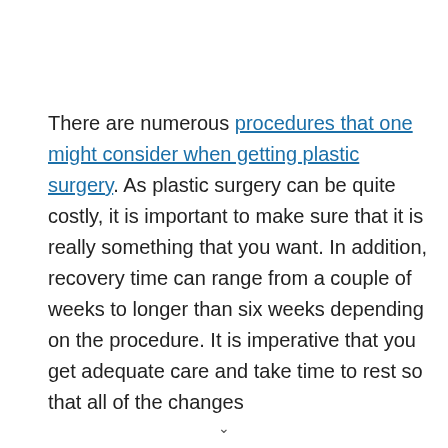There are numerous procedures that one might consider when getting plastic surgery. As plastic surgery can be quite costly, it is important to make sure that it is really something that you want. In addition, recovery time can range from a couple of weeks to longer than six weeks depending on the procedure. It is imperative that you get adequate care and take time to rest so that all of the changes